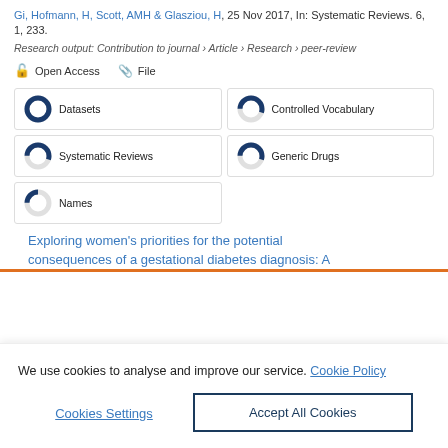Gi, Hofmann, H, Scott, AMH & Glasziou, H, 25 Nov 2017, In: Systematic Reviews. 6, 1, 233.
Research output: Contribution to journal › Article › Research › peer-review
Open Access   File
[Figure (infographic): Five keyword badges with donut-style percentage icons: Datasets (~100%), Controlled Vocabulary (~55%), Systematic Reviews (~55%), Generic Drugs (~55%), Names (~25%)]
Exploring women's priorities for the potential consequences of a gestational diabetes diagnosis: A
We use cookies to analyse and improve our service. Cookie Policy
Cookies Settings
Accept All Cookies